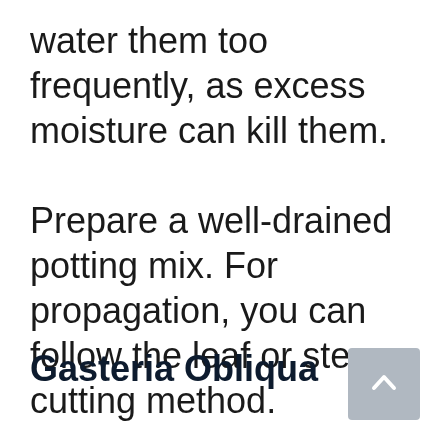water them too frequently, as excess moisture can kill them.
Prepare a well-drained potting mix. For propagation, you can follow the leaf or stem cutting method.
Gasteria Obliqua